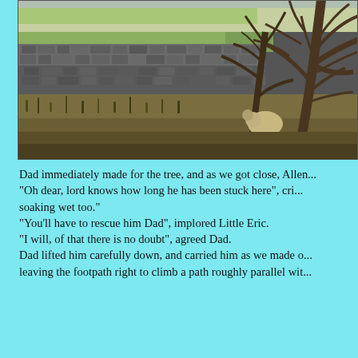[Figure (photo): Outdoor rural scene showing a dry-stone wall in the middle ground, with bare twisted trees on the right, green fields visible in the background, and rough grass and scrub in the foreground.]
Dad immediately made for the tree, and as we got close, Allen...
"Oh dear, lord knows how long he has been stuck here", cri... soaking wet too."
"You'll have to rescue him Dad", implored Little Eric.
"I will, of that there is no doubt", agreed Dad.
Dad lifted him carefully down, and carried him as we made o... leaving the footpath right to climb a path roughly parallel wit...